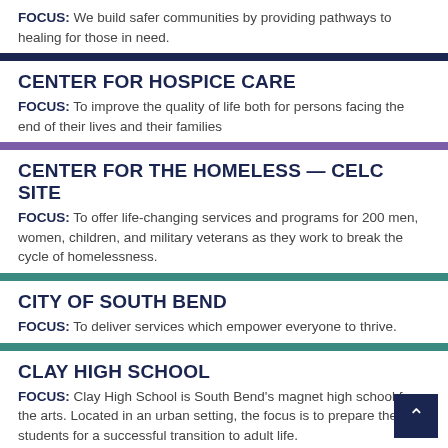FOCUS: We build safer communities by providing pathways to healing for those in need.
CENTER FOR HOSPICE CARE
FOCUS: To improve the quality of life both for persons facing the end of their lives and their families
CENTER FOR THE HOMELESS — CELC SITE
FOCUS: To offer life-changing services and programs for 200 men, women, children, and military veterans as they work to break the cycle of homelessness.
CITY OF SOUTH BEND
FOCUS: To deliver services which empower everyone to thrive.
CLAY HIGH SCHOOL
FOCUS: Clay High School is South Bend's magnet high school for the arts. Located in an urban setting, the focus is to prepare the students for a successful transition to adult life.